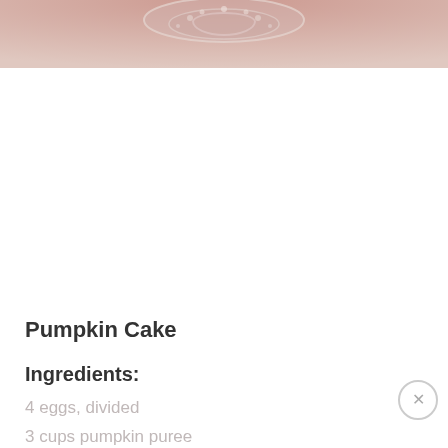[Figure (photo): Close-up photo of a pumpkin cake top with decorative glass or crystal pattern visible, pink-orange tones]
Pumpkin Cake
Ingredients:
4 eggs, divided
3 cups pumpkin puree
2 cups sugar